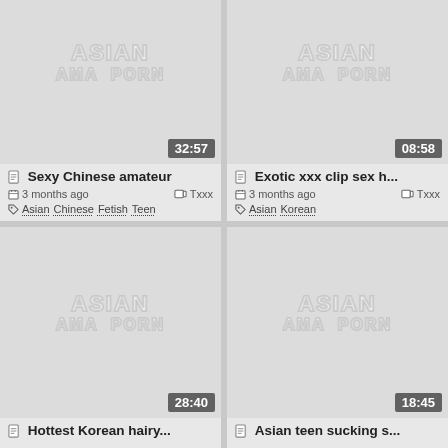[Figure (screenshot): Video thumbnail with watermark text ASIAN AMA PORN, duration 32:57]
📄 Sexy Chinese amateur
3 months ago  Txxx
🏷 Asian Chinese Fetish Teen
[Figure (screenshot): Video thumbnail with watermark text ASIAN AMA PORN, duration 08:58]
📄 Exotic xxx clip sex h...
3 months ago  Txxx
🏷 Asian Korean
[Figure (screenshot): Video thumbnail with watermark text ASIAN AMA PORN, duration 28:40]
📄 Hottest Korean hairy...
[Figure (screenshot): Video thumbnail with watermark text ASIAN AMA PORN, duration 18:45]
📄 Asian teen sucking s...